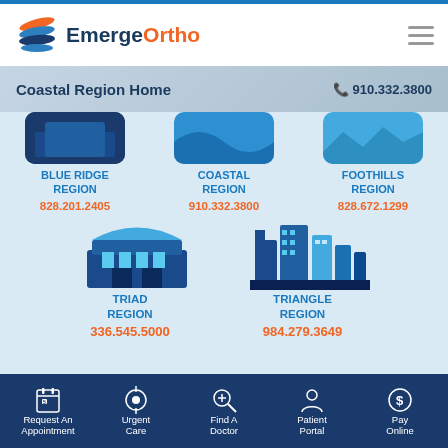[Figure (logo): EmergeOrtho logo with blue and orange swoosh graphic and text 'EmergeOrtho']
Coastal Region Home   📞 910.332.3800
[Figure (illustration): Blue Ridge Region icon - dark blue rounded rectangle with region illustration]
BLUE RIDGE REGION
828.201.2405
[Figure (illustration): Coastal Region icon - medium blue rounded rectangle]
COASTAL REGION
910.332.3800
[Figure (illustration): Foothills Region icon - light blue rounded rectangle]
FOOTHILLS REGION
828.672.1299
[Figure (illustration): Triad Region icon - blue building with curved roof architecture]
TRIAD REGION
336.545.5000
[Figure (illustration): Triangle Region icon - blue city skyline/skyscrapers]
TRIANGLE REGION
984.279.3649
Request An Appointment | Urgent Care | Find A Doctor | Patient Portal | Pay Online